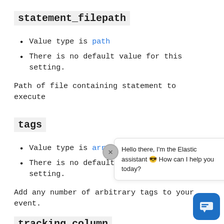statement_filepath
Value type is path
There is no default value for this setting.
Path of file containing statement to execute
tags
Value type is array
There is no default value for this setting.
Add any number of arbitrary tags to your event.
This can help y...
[Figure (screenshot): Chat assistant popup with close button, bubble saying 'Hello there, I'm the Elastic assistant 🤖 How can I help you today?', and blue chat icon button in bottom right.]
tracking_column